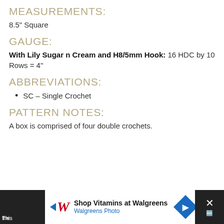MEASUREMENTS:
8.5" Square
GAUGE:
With Lily Sugar n Cream and H8/5mm Hook: 16 HDC by 10 Rows = 4"
ABBREVIATIONS:
SC – Single Crochet
PATTERN NOTES:
A box is comprised of four double crochets.
[Figure (other): Advertisement banner for Walgreens Photo shop vitamins at Walgreens]